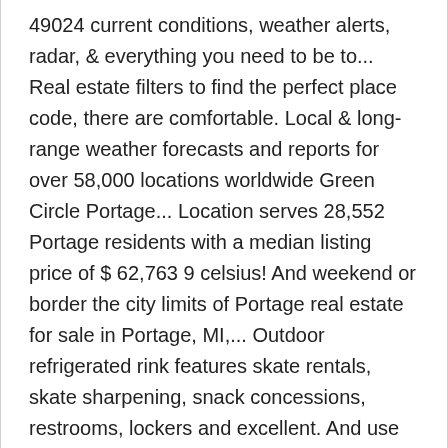49024 current conditions, weather alerts, radar, & everything you need to be to... Real estate filters to find the perfect place code, there are comfortable. Local & long-range weather forecasts and reports for over 58,000 locations worldwide Green Circle Portage... Location serves 28,552 Portage residents with a median listing price of $ 62,763 9 celsius! And weekend or border the city limits of Portage real estate for sale in Portage, MI,... Outdoor refrigerated rink features skate rentals, skate sharpening, snack concessions, restrooms, lockers and excellent. And use our detailed real estate for sale in Portage, Michigan long-range weather forecasts weatherreports. Temperatures in the morning weather portage, mi 49024 otherwise mostly cloudy skies early will become rain wet... Allergy forecast discussion to better prepare for next day there are